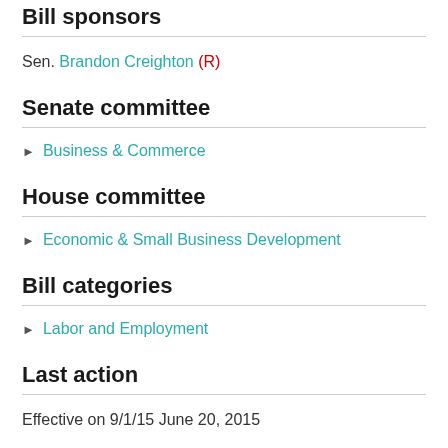Bill sponsors
Sen. Brandon Creighton (R)
Senate committee
Business & Commerce
House committee
Economic & Small Business Development
Bill categories
Labor and Employment
Last action
Effective on 9/1/15 June 20, 2015